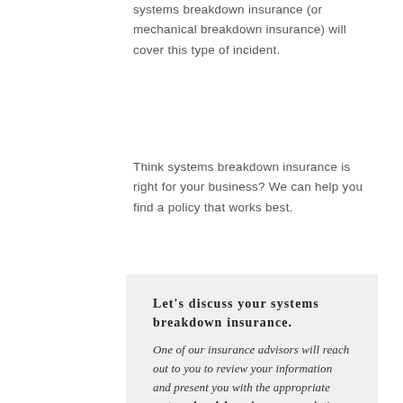systems breakdown insurance (or mechanical breakdown insurance) will cover this type of incident.
Think systems breakdown insurance is right for your business? We can help you find a policy that works best.
Let's discuss your systems breakdown insurance. One of our insurance advisors will reach out to you to review your information and present you with the appropriate systems breakdown insurance solution. There's no obligation, just good-old-fashioned advice.